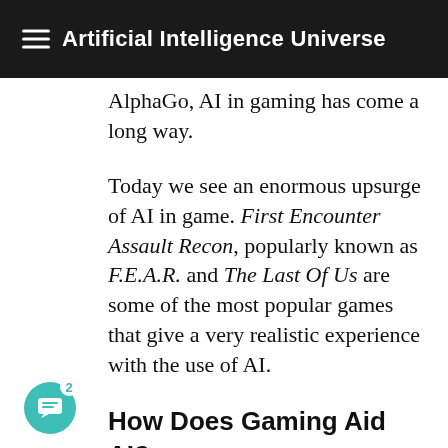Artificial Intelligence Universe
AlphaGo, AI in gaming has come a long way.
Today we see an enormous upsurge of AI in game. First Encounter Assault Recon, popularly known as F.E.A.R. and The Last Of Us are some of the most popular games that give a very realistic experience with the use of AI.
How Does Gaming Aid AI?